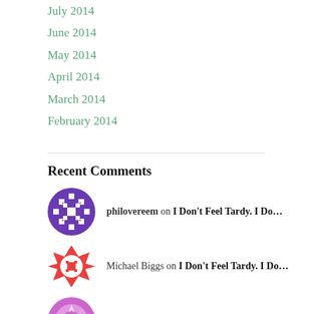July 2014
June 2014
May 2014
April 2014
March 2014
February 2014
Recent Comments
philovereem on I Don't Feel Tardy. I Do...
Michael Biggs on I Don't Feel Tardy. I Do...
Dana Scott on Paul Blackburn, “Listeni...
philovereem on No-Save* November: The Best Re...